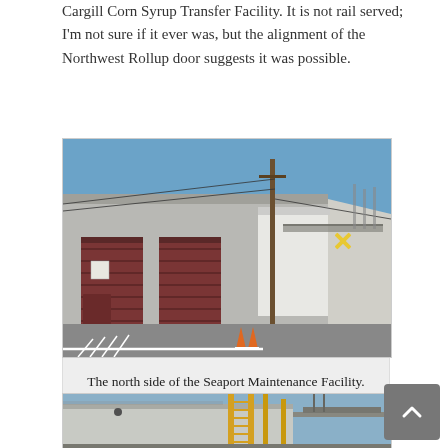Cargill Corn Syrup Transfer Facility. It is not rail served; I'm not sure if it ever was, but the alignment of the Northwest Rollup door suggests it was possible.
[Figure (photo): Exterior photograph of a large gray warehouse building (Seaport Maintenance Facility) showing the north side. Three large dark red/maroon roll-up garage doors are visible along the building wall. A utility pole stands in the foreground. Orange traffic cones are visible in the parking lot. A bridge structure and industrial towers are visible in the background under a blue sky.]
The north side of the Seaport Maintenance Facility.
[Figure (photo): Partial photograph showing the top portion of a large gray industrial building exterior with yellow industrial structures (ladders/pipes) visible on the facade and a bridge structure in the background.]